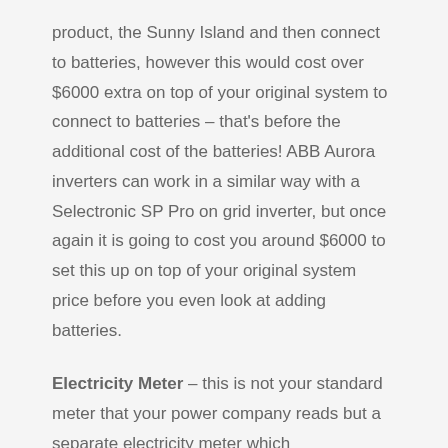product, the Sunny Island and then connect to batteries, however this would cost over $6000 extra on top of your original system to connect to batteries – that's before the additional cost of the batteries! ABB Aurora inverters can work in a similar way with a Selectronic SP Pro on grid inverter, but once again it is going to cost you around $6000 to set this up on top of your original system price before you even look at adding batteries.
Electricity Meter – this is not your standard meter that your power company reads but a separate electricity meter which communicates with your battery control system to tell the batteries what to do. It